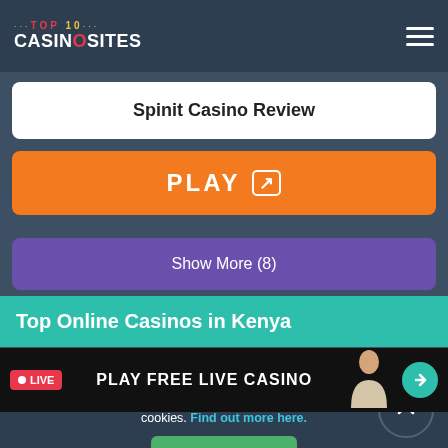TOP 10 CASINOSITES
Spinit Casino Review
PLAY
Show More (8)
Top Online Casinos in Kenya
LIVE  PLAY FREE LIVE CASINO
This website uses cookies. By continuing, you agree to our use of cookies. Find out more here.
Agree